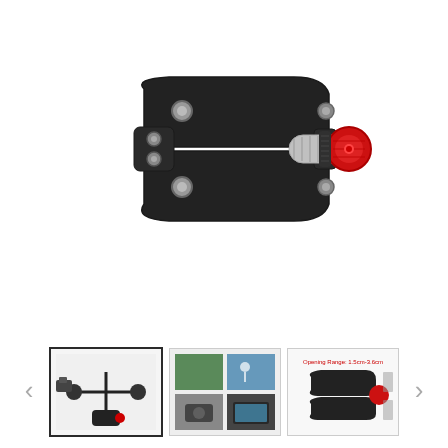[Figure (photo): A black metal super clamp/crab clamp with red knob tightening screw, shown from front on white background. The clamp has two large jaw arms with silver bolt heads and a textured red cylindrical knob on the right side.]
[Figure (photo): Thumbnail 1 (selected): OEM Multi-Function Double Ballhead Magic Arm with Super Clamp product shown with two ball heads connected by articulated arm and the red-knob clamp at bottom.]
[Figure (photo): Thumbnail 2: Four-panel collage showing the magic arm clamp in use — mounted on a camera rig, a cyclist using it, a DSLR camera mounted, and a tablet/monitor mount.]
[Figure (photo): Thumbnail 3: Diagram showing opening range 1.5cm-3.6cm, with close-up images of the clamp mechanism and red knob.]
OEM Multi-Function Double Ballhead Magic Arm with Super Clamp for LED Light, Action C...